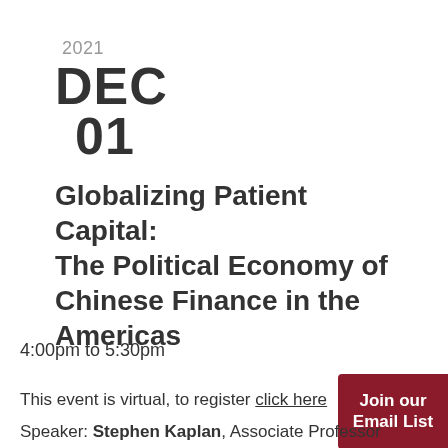2021
DEC
01
Globalizing Patient Capital: The Political Economy of Chinese Finance in the Americas
4:00pm to 5:30pm
This event is virtual, to register click here
Join our Email List
Speaker: Stephen Kaplan, Associate Professor